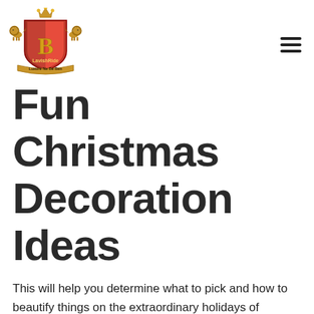[Figure (logo): LavishRide heraldic crest logo with red shield, gold letter B, two golden lions, crown on top, and tagline below]
Fun Christmas Decoration Ideas
This will help you determine what to pick and how to beautify things on the extraordinary holidays of Christmas.
Ring In The Season
Brass bells will help you ring in a seasonal manner which